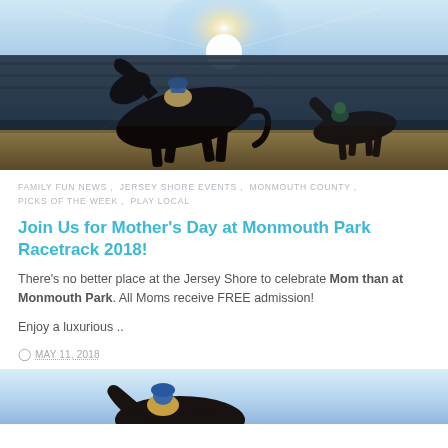[Figure (photo): Horse racing photo — jockey on dark horse racing at full gallop at Monmouth Park racetrack, sun flare in background, grandstands visible full of spectators, second horse visible on the right]
FAMILY FUN NEWS , JERSEY SHORE EVENTS , MONMOUTH COUNTY , PICKS OF THE WEEK , PLAY LOCAL
Join Us for Mother's Day at Monmouth Park Racetrack 2018!
There's no better place at the Jersey Shore to celebrate Mom than at Monmouth Park. All Moms receive FREE admission!
Enjoy a luxurious ..
MAY 11, 2018
[Figure (photo): Second horse racing photo — partial view of jockey on horse racing, light blue sky background, cropped at bottom of page]